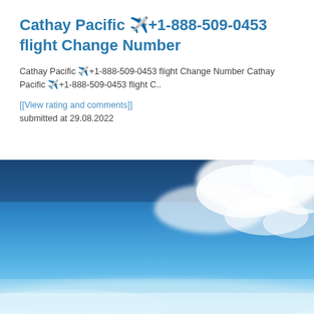Cathay Pacific ✈️+1-888-509-0453 flight Change Number
Cathay Pacific ✈️+1-888-509-0453 flight Change Number Cathay Pacific ✈️+1-888-509-0453 flight C..
[[View rating and comments]]
submitted at 29.08.2022
[Figure (photo): Blue sky with white clouds, aerial view]